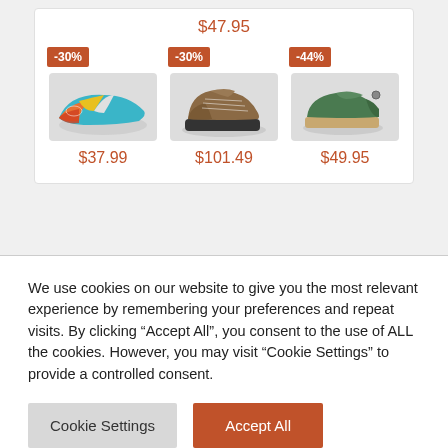[Figure (screenshot): E-commerce product listing showing shoes with discount badges and prices. Top price shown: $47.95. Three shoes below with discounts: -30% / $37.99 (colorful slip-on), -30% / $101.49 (brown hiking boot), -44% / $49.95 (green moc).]
We use cookies on our website to give you the most relevant experience by remembering your preferences and repeat visits. By clicking "Accept All", you consent to the use of ALL the cookies. However, you may visit "Cookie Settings" to provide a controlled consent.
Cookie Settings
Accept All